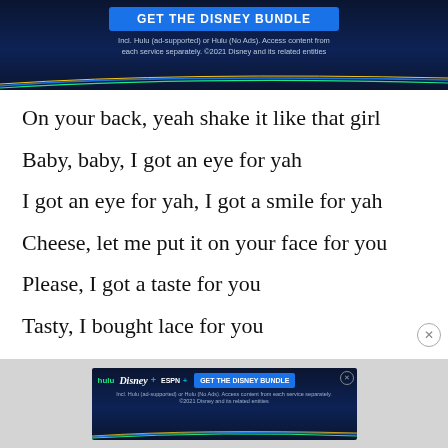[Figure (screenshot): Disney Bundle advertisement banner at top: dark blue background with 'GET THE DISNEY BUNDLE' button and small text about Hulu and Disney services with decorative colored lines at bottom.]
On your back, yeah shake it like that girl
Baby, baby, I got an eye for yah
I got an eye for yah, I got a smile for yah
Cheese, let me put it on your face for you
Please, I got a taste for you
Tasty, I bought lace for you
[Figure (screenshot): Disney Bundle advertisement banner at bottom: Hulu, Disney+, ESPN+ logos with 'GET THE DISNEY BUNDLE' button and small text, with decorative colored lines.]